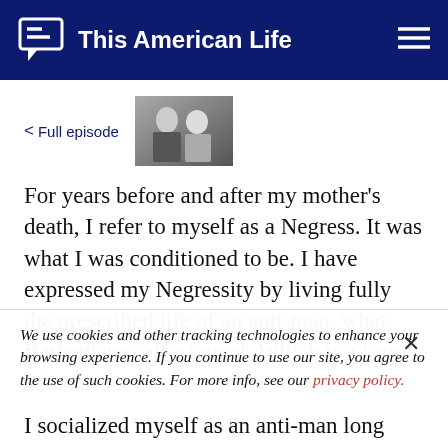This American Life
< Full episode
[Figure (photo): Black and white photograph of a man and woman posing together]
For years before and after my mother's death, I refer to myself as a Negress. It was what I was conditioned to be. I have expressed my Negressity by living fully the prescribed life of an anti-man, what Barbadians call a faggot. Which is a form of
We use cookies and other tracking technologies to enhance your browsing experience. If you continue to use our site, you agree to the use of such cookies. For more info, see our privacy policy.
I socialized myself as an anti-man long before I